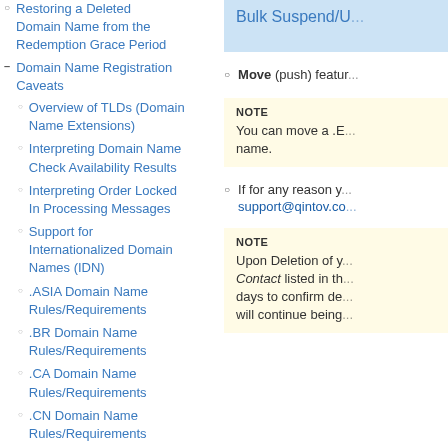Restoring a Deleted Domain Name from the Redemption Grace Period
Domain Name Registration Caveats
Overview of TLDs (Domain Name Extensions)
Interpreting Domain Name Check Availability Results
Interpreting Order Locked In Processing Messages
Support for Internationalized Domain Names (IDN)
.ASIA Domain Name Rules/Requirements
.BR Domain Name Rules/Requirements
.CA Domain Name Rules/Requirements
.CN Domain Name Rules/Requirements
[Figure (screenshot): Blue highlighted box showing 'Bulk Suspend/U...' text (partially visible)]
Move (push) featur...
NOTE
You can move a .E... name.
If for any reason y... support@qintov.co...
NOTE
Upon Deletion of y... Contact listed in th... days to confirm de... will continue being...